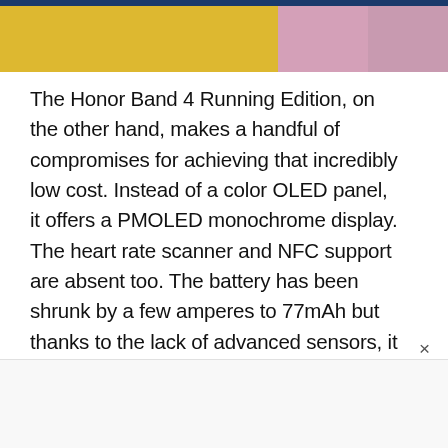[Figure (photo): Partial photo showing a yellow and pink background with a fitness band/wearable device visible in the upper right corner]
The Honor Band 4 Running Edition, on the other hand, makes a handful of compromises for achieving that incredibly low cost. Instead of a color OLED panel, it offers a PMOLED monochrome display. The heart rate scanner and NFC support are absent too. The battery has been shrunk by a few amperes to 77mAh but thanks to the lack of advanced sensors, it can still last twelve days. It has the same water